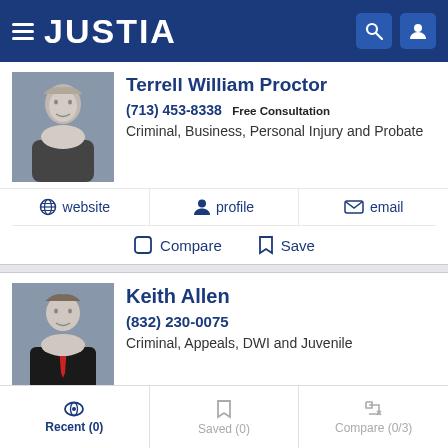JUSTIA
Terrell William Proctor
(713) 453-8338 Free Consultation
Criminal, Business, Personal Injury and Probate
website | profile | email
Compare | Save
Keith Allen
(832) 230-0075
Criminal, Appeals, DWI and Juvenile
website | profile | email
Recent (0) | Saved (0) | Compare (0/3)